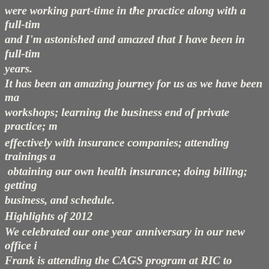were working part-time in the practice along with a full-tim and I'm astonished and amazed that I have been in full-tim years.
It has been an amazing journey for us as we have been ma workshops; learning the business end of private practice; m effectively with insurance companies; attending trainings a obtaining our own health insurance; doing billing; getting business, and schedule.
Highlights of 2012
We celebrated our one year anniversary in our new office i Frank is attending the CAGS program at RIC to obtain his I'm very proud of him and his incredible accomplishments.
In addition to providing individual counseling in North Ki high school in Providence. He also facilitates an Anger Ma Providence.
We now have an ongoing Early Recovery group and an An